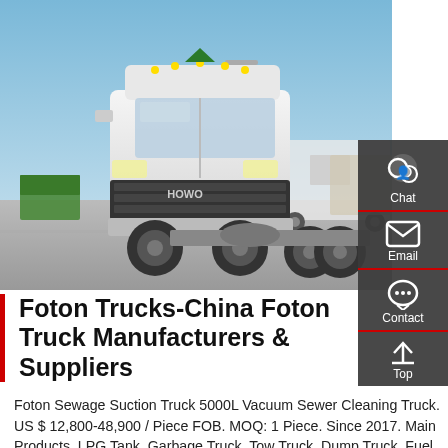[Figure (photo): White HOWO Foton semi-truck tractor parked in an outdoor lot with other trucks and a clear blue sky background. The truck is large, white, with 6 wheels visible and branded 'HOWO' on the front grille.]
Foton Trucks-China Foton Truck Manufacturers & Suppliers
Foton Sewage Suction Truck 5000L Vacuum Sewer Cleaning Truck. US $ 12,800-48,900 / Piece FOB. MOQ: 1 Piece. Since 2017. Main Products. LPG Tank, Garbage Truck, Tow Truck, Dump Truck, Fuel Tank